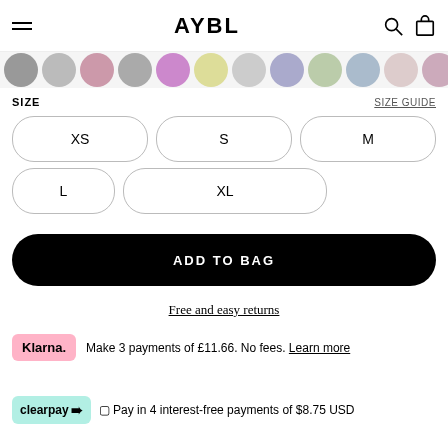AYBL
[Figure (photo): Row of circular thumbnail photos of models wearing activewear]
SIZE
SIZE GUIDE
XS
S
M
L
XL
ADD TO BAG
Free and easy returns
Make 3 payments of £11.66. No fees. Learn more
Pay in 4 interest-free payments of $8.75 USD